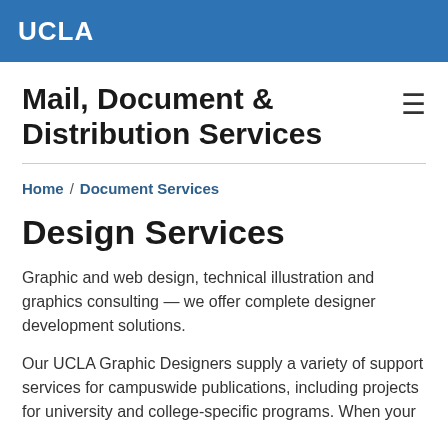UCLA
Mail, Document & Distribution Services
Home / Document Services
Design Services
Graphic and web design, technical illustration and graphics consulting — we offer complete designer development solutions.
Our UCLA Graphic Designers supply a variety of support services for campuswide publications, including projects for university and college-specific programs. When your